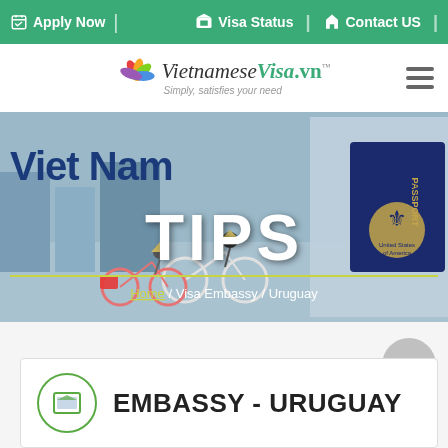Apply Now | Visa Status | Contact US
[Figure (logo): VietnameseVisa.vn logo with colorful leaf icon and tagline 'Simply, satisfies your need']
[Figure (photo): Hero banner with Viet Nam Tips heading, bicycle street scene illustration, US passport, breadcrumb: Home / Visa Embassy / Uruguay]
EMBASSY - URUGUAY